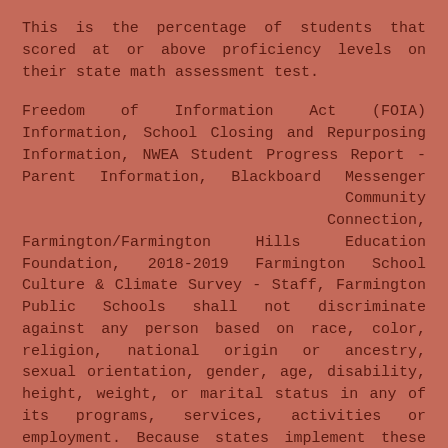This is the percentage of students that scored at or above proficiency levels on their state math assessment test.
Freedom of Information Act (FOIA) Information, School Closing and Repurposing Information, NWEA Student Progress Report - Parent Information, Blackboard Messenger Community Connection, Farmington/Farmington Hills Education Foundation, 2018-2019 Farmington School Culture & Climate Survey - Staff, Farmington Public Schools shall not discriminate against any person based on race, color, religion, national origin or ancestry, sexual orientation, gender, age, disability, height, weight, or marital status in any of its programs, services, activities or employment. Because states implement these tests differently, use caution when comparing this data to data from another state. juwhittaker@dsdmail.net, Assistant: 801-402-9050   It has 2,201 students in grades 9-12 with a student-teacher ratio of 20 to 1. Recognize that the harder you work and the better prepared you are, the more luck you might have. Speech Contest, Teacher Recruitment Scholarship for Diverse Students, New Teacher Required